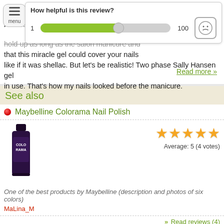I want to believe... I want to believe that this miracle gel could cover your nails like if it was shellac. But let's be realistic! Two phase Sally Hansen gel in use. That's how my nails looked before the manicure.
Read more »
See also
Maybelline Colorama Nail Polish
Average: 5 (4 votes)
One of the best products by Maybelline (description and photos of six colors)
MaLina_M
Read reviews (4)
Sally Hansen Magnetic Nail Colour
Average: 5 (1 vote)
It magnetically catches your eyes and not only eyes